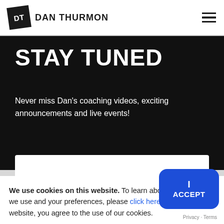DT  DAN THURMON
STAY TUNED
Never miss Dan's coaching videos, exciting announcements and live events!
We use cookies on this website. To learn about the cookies we use and your preferences, please click here. By using our website, you agree to the use of our cookies.
I ACCEPT
Privacy · Terms